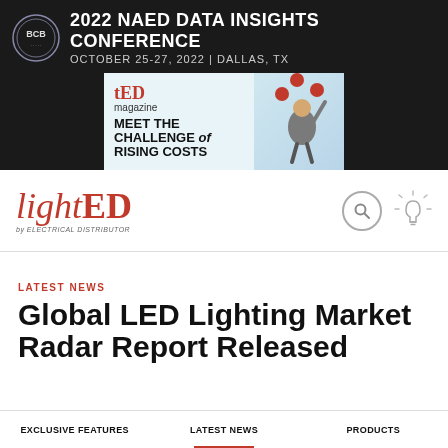[Figure (screenshot): 2022 NAED DATA INSIGHTS CONFERENCE banner with BCB logo, October 25-27, 2022, Dallas TX, and a TED magazine advertisement showing 'MEET THE CHALLENGE of RISING COSTS' with juggling man image]
[Figure (logo): lightED logo - 'light' in black serif and 'ED' in red serif, with search and lightbulb icons]
LATEST NEWS
Global LED Lighting Market Radar Report Released
EXCLUSIVE FEATURES   LATEST NEWS   PRODUCTS